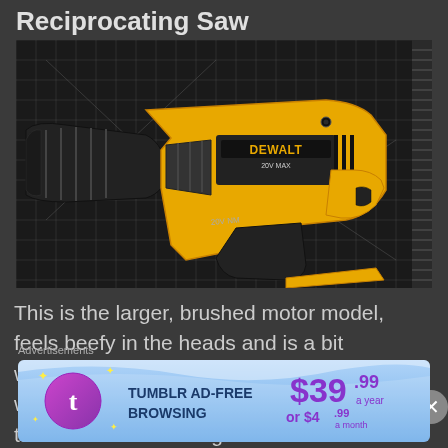Reciprocating Saw
[Figure (photo): A DeWalt 20V MAX reciprocating saw (body only, no battery) lying on a dark grid cutting mat. The saw is yellow and black, with the DeWalt logo visible on the body.]
This is the larger, brushed motor model, feels beefy in the heads and is a bit weightier than the Porter-Cable 18v unit it was replacing. It looks and feels like it will take more of a beating than it
Advertisements
[Figure (screenshot): Tumblr AD-FREE BROWSING advertisement banner. Shows $39.99 a year or $4.99 a month pricing with Tumblr logo on a blue gradient background.]